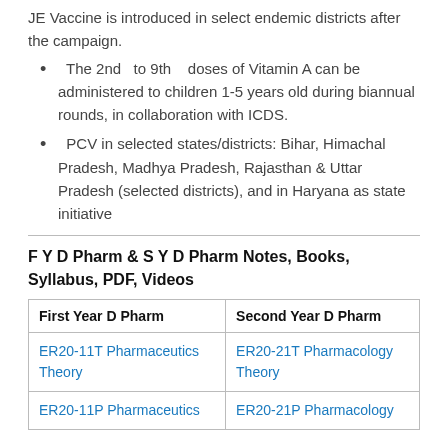JE Vaccine is introduced in select endemic districts after the campaign.
The 2nd to 9th doses of Vitamin A can be administered to children 1-5 years old during biannual rounds, in collaboration with ICDS.
PCV in selected states/districts: Bihar, Himachal Pradesh, Madhya Pradesh, Rajasthan & Uttar Pradesh (selected districts), and in Haryana as state initiative
F Y D Pharm & S Y D Pharm Notes, Books, Syllabus, PDF, Videos
| First Year D Pharm | Second Year D Pharm |
| --- | --- |
| ER20-11T Pharmaceutics Theory | ER20-21T Pharmacology Theory |
| ER20-11P Pharmaceutics | ER20-21P Pharmacology |